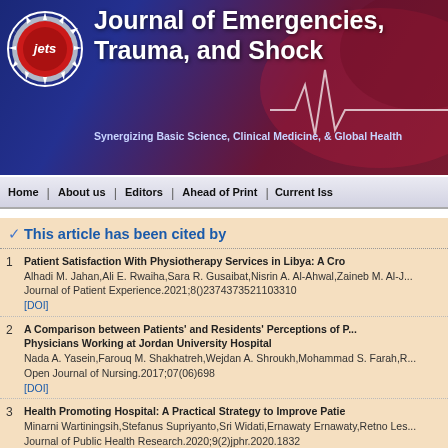[Figure (logo): Journal of Emergencies, Trauma, and Shock journal header banner with logo and heart rate line]
Journal of Emergencies, Trauma, and Shock
Synergizing Basic Science, Clinical Medicine, & Global Health
Home | About us | Editors | Ahead of Print | Current Issue
This article has been cited by
1. Patient Satisfaction With Physiotherapy Services in Libya: A Cro... Alhadi M. Jahan,Ali E. Rwaiha,Sara R. Gusaibat,Nisrin A. Al-Ahwal,Zaineb M. Al-J... Journal of Patient Experience.2021;8()2374373521103310 [DOI]
2. A Comparison between Patients' and Residents' Perceptions of P... Physicians Working at Jordan University Hospital Nada A. Yasein,Farouq M. Shakhatreh,Wejdan A. Shroukh,Mohammad S. Farah,R... Open Journal of Nursing.2017;07(06)698 [DOI]
3. Health Promoting Hospital: A Practical Strategy to Improve Patie... Minarni Wartiningsih,Stefanus Supriyanto,Sri Widati,Ernawaty Ernawaty,Retno Les... Journal of Public Health Research.2020;9(2)jphr.2020.1832 [DOI]
4. Patient expectations of manual and non-manual therapy within a... Nicholas Tripodi,Amber Garrett,Danielle Savic,Krita Sadrani,Lauren Robertson,Sa... International Journal of Osteopathic Medicine.2021;39(2)41 [DOI]